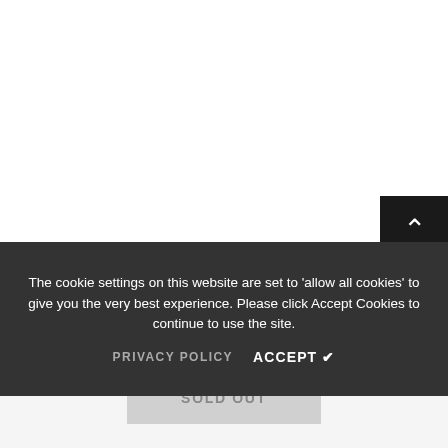[Figure (screenshot): White area at top of page, part of website content area]
The cookie settings on this website are set to 'allow all cookies' to give you the very best experience. Please click Accept Cookies to continue to use the site.
PRIVACY POLICY   ACCEPT ✔
RELATED PRODUCTS
SOLD OUT